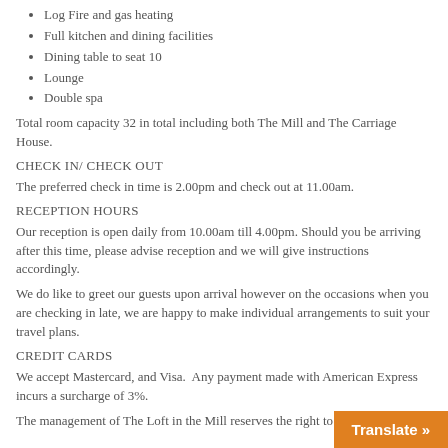Log Fire and gas heating
Full kitchen and dining facilities
Dining table to seat 10
Lounge
Double spa
Total room capacity 32 in total including both The Mill and The Carriage House.
CHECK IN/ CHECK OUT
The preferred check in time is 2.00pm and check out at 11.00am.
RECEPTION HOURS
Our reception is open daily from 10.00am till 4.00pm. Should you be arriving after this time, please advise reception and we will give instructions accordingly.
We do like to greet our guests upon arrival however on the occasions when you are checking in late, we are happy to make individual arrangements to suit your travel plans.
CREDIT CARDS
We accept Mastercard, and Visa.  Any payment made with American Express incurs a surcharge of 3%.
The management of The Loft in the Mill reserves the right to…